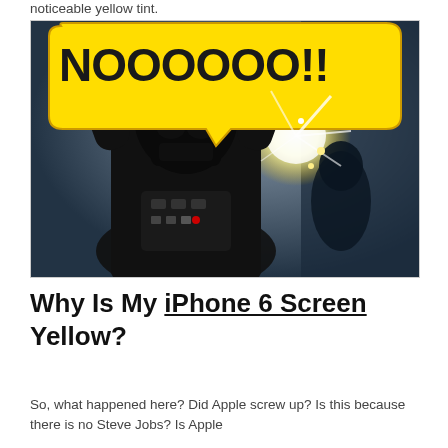noticeable yellow tint.
[Figure (illustration): Comic-style illustration of Darth Vader with arms raised, shouting 'NOOOOOO!!' in yellow speech bubble text, with an explosion and another figure in the background.]
Why Is My iPhone 6 Screen Yellow?
So, what happened here? Did Apple screw up? Is this because there is no Steve Jobs? Is Apple